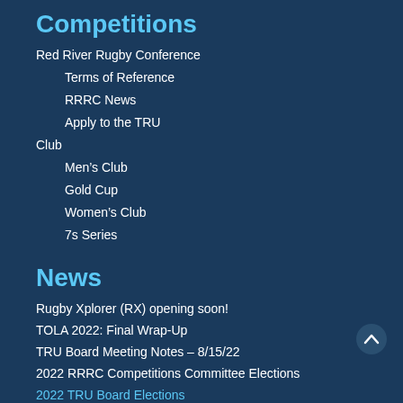Competitions
Red River Rugby Conference
Terms of Reference
RRRC News
Apply to the TRU
Club
Men's Club
Gold Cup
Women's Club
7s Series
News
Rugby Xplorer (RX) opening soon!
TOLA 2022: Final Wrap-Up
TRU Board Meeting Notes – 8/15/22
2022 RRRC Competitions Committee Elections
2022 TRU Board Elections